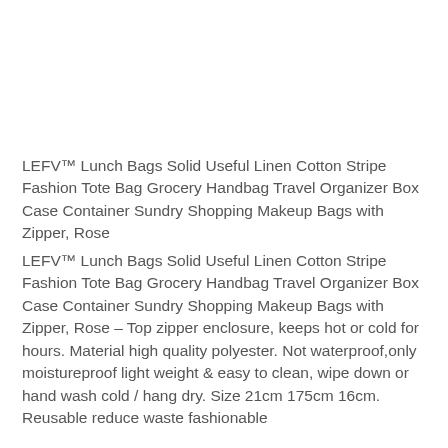LEFV™ Lunch Bags Solid Useful Linen Cotton Stripe Fashion Tote Bag Grocery Handbag Travel Organizer Box Case Container Sundry Shopping Makeup Bags with Zipper, Rose
LEFV™ Lunch Bags Solid Useful Linen Cotton Stripe Fashion Tote Bag Grocery Handbag Travel Organizer Box Case Container Sundry Shopping Makeup Bags with Zipper, Rose – Top zipper enclosure, keeps hot or cold for hours. Material high quality polyester. Not waterproof,only moistureproof light weight & easy to clean, wipe down or hand wash cold / hang dry. Size 21cm 175cm 16cm. Reusable reduce waste fashionable